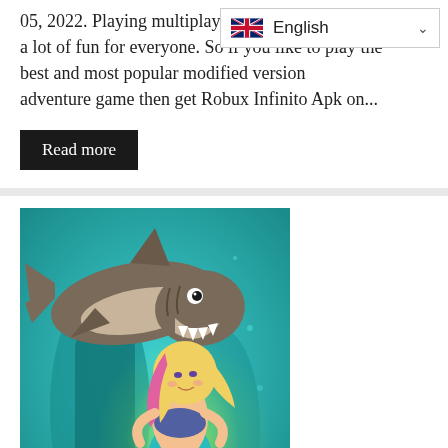05, 2022. Playing multiplayer games can be a lot of fun for everyone. So if you like to play the best and most popular modified version adventure game then get Robux Infinito Apk on...
Read more
[Figure (illustration): Cartoon illustration of a menacing shark and a mermaid with pink and blonde hair swimming in an underwater teal/aqua colored scene.]